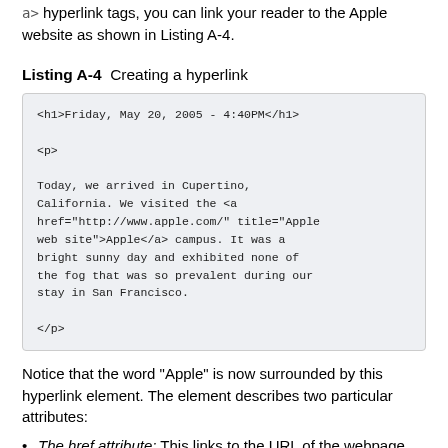a> hyperlink tags, you can link your reader to the Apple website as shown in Listing A-4.
Listing A-4  Creating a hyperlink
[Figure (screenshot): A code listing box with light grey background showing HTML code: <h1>Friday, May 20, 2005 - 4:40PM</h1> followed by <p> tag, then paragraph text about visiting Apple campus with an anchor tag href='http://www.apple.com/' title='Apple web site'>Apple</a>, then </p> closing tag.]
Notice that the word "Apple" is now surrounded by this hyperlink element. The element describes two particular attributes:
The href attribute: This links to the URL of the webpage you want to link to. If you specified a relative